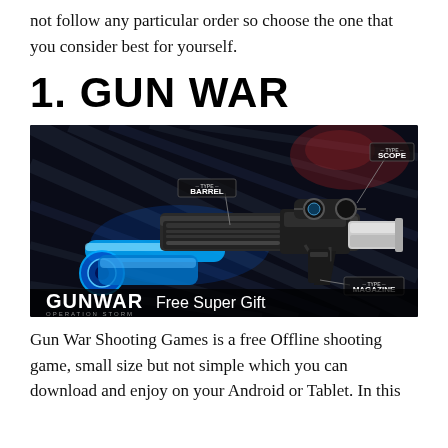you don't have to follow any particular order so choose the one that you consider best for yourself.
1. GUN WAR
[Figure (screenshot): Gun War game screenshot showing a customizable assault rifle with glowing blue barrel attachment, scope and magazine labels, on a dark background. Bottom text reads 'GUNWAR Free Super Gift' and 'OPERATION STORM'.]
Gun War Shooting Games is a free Offline shooting game, small size but not simple which you can download and enjoy on your Android or Tablet. In this